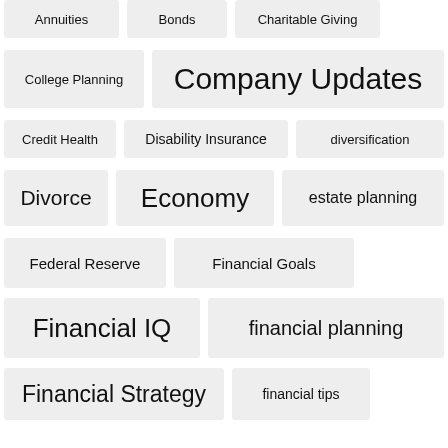Annuities
Bonds
Charitable Giving
College Planning
Company Updates
Credit Health
Disability Insurance
diversification
Divorce
Economy
estate planning
Federal Reserve
Financial Goals
Financial IQ
financial planning
Financial Strategy
financial tips
Forbes.com
inflation
Investments